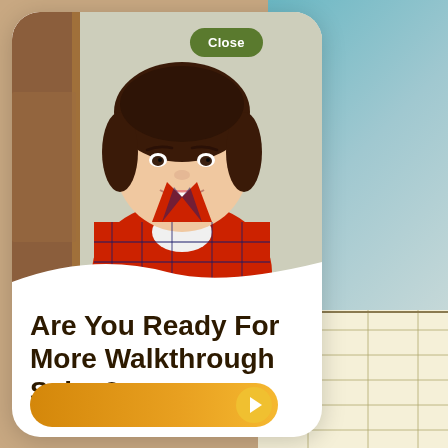[Figure (photo): Screenshot of a mobile app popup/modal showing a smiling young woman in a red plaid shirt standing at a doorway, with a green 'Close' button at the top, and bold text reading 'Are You Ready For More Walkthrough Sales?' with a golden CTA button at the bottom. Background shows a teal/blue blurred area top-right and grid/ledger paper bottom-right.]
Are You Ready For More Walkthrough Sales?